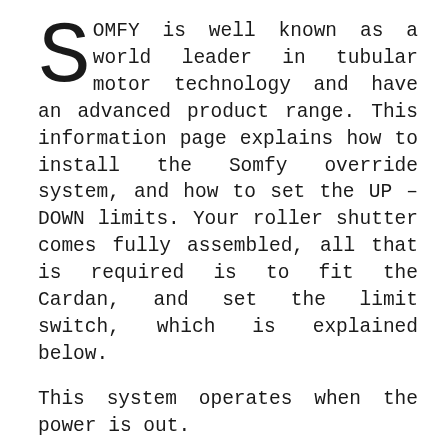SOMFY is well known as a world leader in tubular motor technology and have an advanced product range. This information page explains how to install the Somfy override system, and how to set the UP – DOWN limits. Your roller shutter comes fully assembled, all that is required is to fit the Cardan, and set the limit switch, which is explained below.
This system operates when the power is out.
The Somfy manual override system, allows it to be fully operational, in the